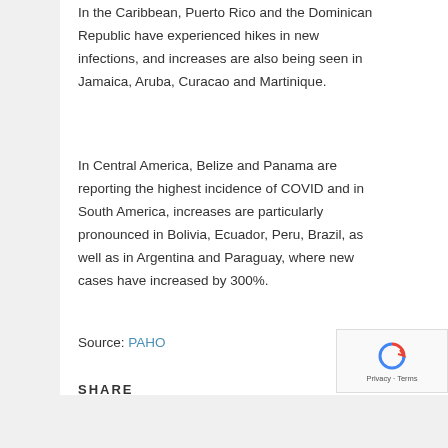In the Caribbean, Puerto Rico and the Dominican Republic have experienced hikes in new infections, and increases are also being seen in Jamaica, Aruba, Curacao and Martinique.
In Central America, Belize and Panama are reporting the highest incidence of COVID and in South America, increases are particularly pronounced in Bolivia, Ecuador, Peru, Brazil, as well as in Argentina and Paraguay, where new cases have increased by 300%.
Source: PAHO
SHARE
[Figure (other): reCAPTCHA widget with Privacy and Terms text]